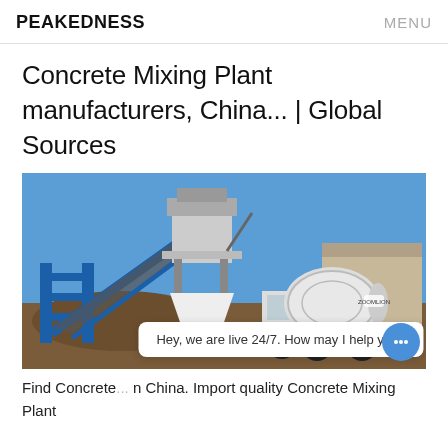PEAKEDNESS   MENU
Concrete Mixing Plant manufacturers, China... | Global Sources
[Figure (photo): A concrete mixing plant with a blue steel frame conveyor belt structure and a concrete mixer truck parked beside it under a clear blue sky at a construction site.]
Find Concrete... n China. Import quality Concrete Mixing Plant